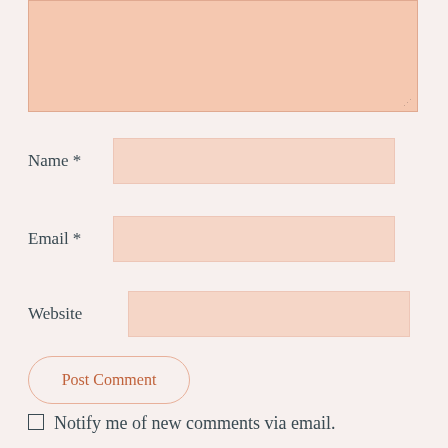[Figure (screenshot): Comment form textarea (partially visible at top), salmon/peach colored background input box]
Name *
[Figure (screenshot): Name input field, peach/salmon colored]
Email *
[Figure (screenshot): Email input field, peach/salmon colored]
Website
[Figure (screenshot): Website input field, peach/salmon colored]
Post Comment
Notify me of new comments via email.
Notify me of new posts via email.